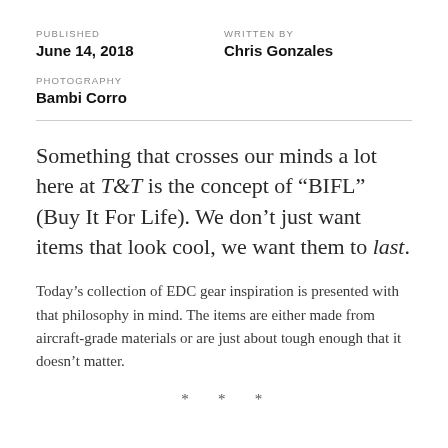PUBLISHED
June 14, 2018
WRITTEN BY
Chris Gonzales
PHOTOGRAPHY
Bambi Corro
Something that crosses our minds a lot here at T&T is the concept of “BIFL” (Buy It For Life). We don’t just want items that look cool, we want them to last.
Today’s collection of EDC gear inspiration is presented with that philosophy in mind. The items are either made from aircraft-grade materials or are just about tough enough that it doesn’t matter.
* * *